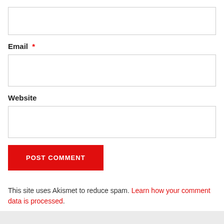[input field — top, unlabeled]
Email *
[Email input field]
Website
[Website input field]
POST COMMENT
This site uses Akismet to reduce spam. Learn how your comment data is processed.